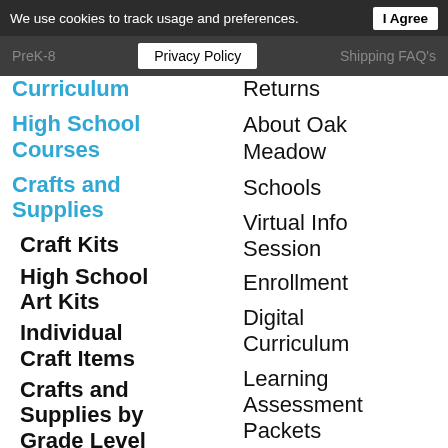We use cookies to track usage and preferences. I Agree
PreK-8 Privacy Policy Shipping FAQ's
Curriculum
High School Courses
Crafts and Supplies
Craft Kits
High School Art Kits
Individual Craft Items
Crafts and Supplies by Grade Level
Preschool Craft Items
Kindergarten
Returns
About Oak Meadow
Schools
Virtual Info Session
Enrollment
Digital Curriculum
Learning Assessment Packets
Complete Price Lists
Curriculum